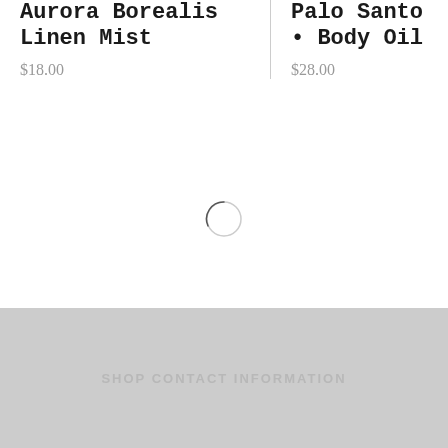Aurora Borealis Linen Mist
$18.00
Palo Santo • Body Oil
$28.00
[Figure (other): Loading spinner icon, circular with partial arc]
SHOP CONTACT INFORMATION